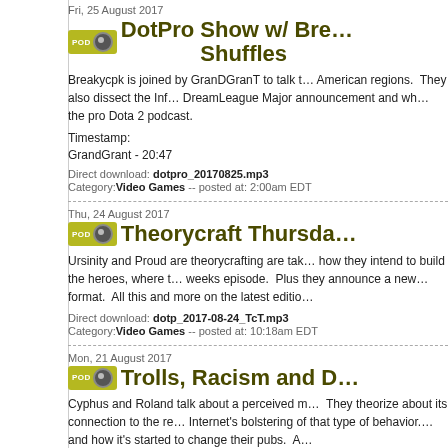Fri, 25 August 2017
DotPro Show w/ Bre... Shuffles
Breakycpk is joined by GranDGranT to talk t... the pro Dota 2 podcast.
Timestamp:
GrandGrant - 20:47
Direct download: dotpro_20170825.mp3
Category: Video Games -- posted at: 2:00am EDT
Thu, 24 August 2017
Theorycraft Thursda...
Ursinity and Proud are theorycrafting are tak... format. All this and more on the latest editio...
Direct download: dotp_2017-08-24_TcT.mp3
Category: Video Games -- posted at: 10:18am EDT
Mon, 21 August 2017
Trolls, Racism and D...
Cyphus and Roland talk about a perceived m... and how it's started to change their pubs. A...